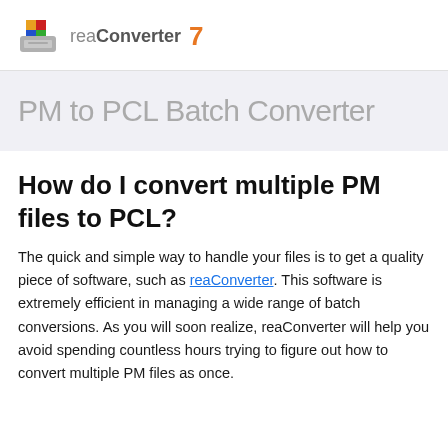reaConverter 7
PM to PCL Batch Converter
How do I convert multiple PM files to PCL?
The quick and simple way to handle your files is to get a quality piece of software, such as reaConverter. This software is extremely efficient in managing a wide range of batch conversions. As you will soon realize, reaConverter will help you avoid spending countless hours trying to figure out how to convert multiple PM files as once.